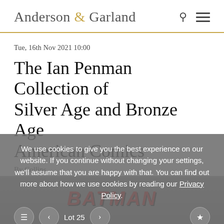Anderson & Garland
Tue, 16th Nov 2021 10:00
The Ian Penman Collection of Silver Age and Bronze Age American Comics
By Collins
We use cookies to give you the best experience on our website. If you continue without changing your settings, we'll assume that you are happy with that. You can find out more about how we use cookies by reading our Privacy Policy.
Lot 25
Ok
[Figure (photo): Bottom portion of a Batman Detective Comics comic book cover, showing the Batman title text in red on a grey background.]